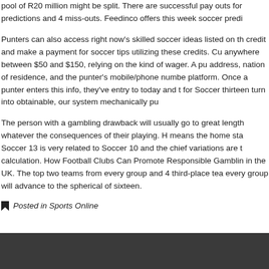pool of R20 million might be split. There are successful pay outs for predictions and 4 miss-outs. Feedinco offers this week soccer predi
Punters can also access right now's skilled soccer ideas listed on the credit and make a payment for soccer tips utilizing these credits. Cu anywhere between $50 and $150, relying on the kind of wager. A pu address, nation of residence, and the punter's mobile/phone numbe platform. Once a punter enters this info, they've entry to today and t for Soccer thirteen turn into obtainable, our system mechanically pu
The person with a gambling drawback will usually go to great length whatever the consequences of their playing. H means the home sta Soccer 13 is very related to Soccer 10 and the chief variations are th calculation. How Football Clubs Can Promote Responsible Gamblin in the UK. The top two teams from every group and 4 third-place tea every group will advance to the spherical of sixteen.
Posted in Sports Online